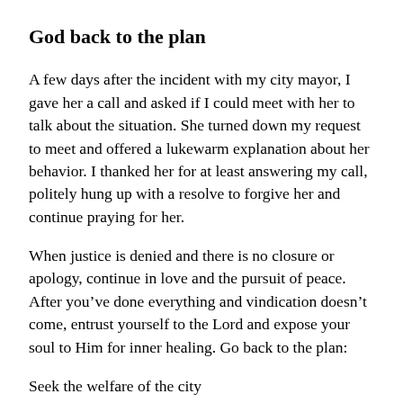God back to the plan
A few days after the incident with my city mayor, I gave her a call and asked if I could meet with her to talk about the situation. She turned down my request to meet and offered a lukewarm explanation about her behavior. I thanked her for at least answering my call, politely hung up with a resolve to forgive her and continue praying for her.
When justice is denied and there is no closure or apology, continue in love and the pursuit of peace. After you’ve done everything and vindication doesn’t come, entrust yourself to the Lord and expose your soul to Him for inner healing. Go back to the plan:
Seek the welfare of the city